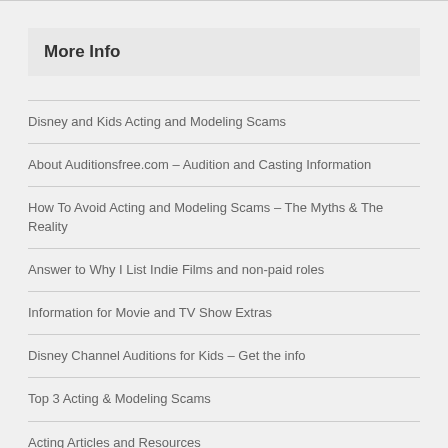More Info
Disney and Kids Acting and Modeling Scams
About Auditionsfree.com – Audition and Casting Information
How To Avoid Acting and Modeling Scams – The Myths & The Reality
Answer to Why I List Indie Films and non-paid roles
Information for Movie and TV Show Extras
Disney Channel Auditions for Kids – Get the info
Top 3 Acting & Modeling Scams
Acting Articles and Resources
Don't get scammed
List of Agents and Casting Directors
Theater Resources